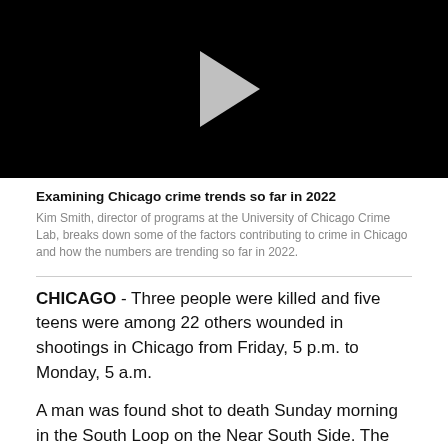[Figure (other): Black video thumbnail with a gray play button triangle in the center]
Examining Chicago crime trends so far in 2022
Kim Smith, director of programs at the University of Chicago Crime Lab, breaks down some of the factors contributing to crime in Chicago and how the numbers are trending so far in 2022.
CHICAGO - Three people were killed and five teens were among 22 others wounded in shootings in Chicago from Friday, 5 p.m. to Monday, 5 a.m.
A man was found shot to death Sunday morning in the South Loop on the Near South Side. The man, 44, was found in the street in the first block of East 24th Street about 4:30 a.m. with two gunshot wounds to his lower extremities. Chicago police said. He was pronounced